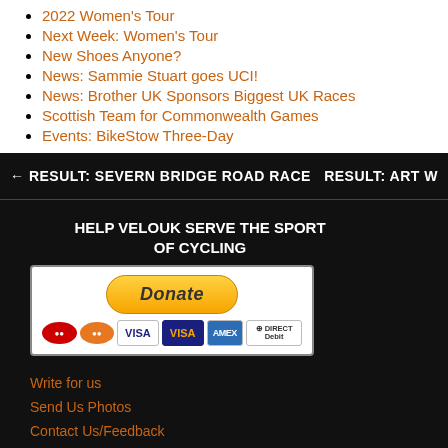2022 Women's Tour
Next Week: Women's Tour
New Shoes Anyone?
News: Sammie Stuart goes UCI!
News: Brother UK Sponsors Biggest UK Races
Scottish Team for Commonwealth Games
Events: BikeStow Three-Day
← RESULT: SEVERN BRIDGE ROAD RACE    RESULT: ART W
HELP VELOUK SERVE THE SPORT OF CYCLING
[Figure (other): PayPal Donate button with payment card logos: MasterCard, Maestro, VISA, VISA, American Express, Direct Debit]
Write for us
Send Us Photos
Contact Us/Feedback
About VeloUK
How to advertise with VeloUK